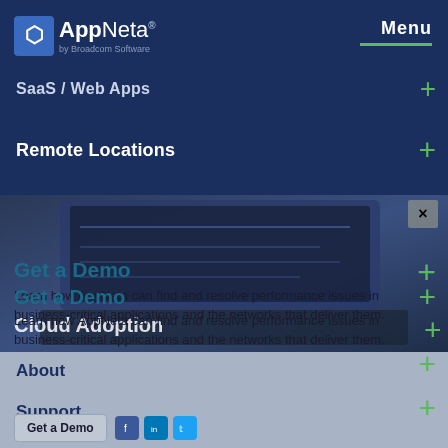[Figure (screenshot): AppNeta by Broadcom Software navigation menu overlay on a website. Shows logo, Menu button, navigation items (SaaS / Web Apps, Remote Locations, Cloud Adoption, About, Support), and a Get a Demo section with CTA button and social icons. A laptop/tech photo is partially visible in the background.]
AppNeta by Broadcom Software
SaaS / Web Apps
Remote Locations
Cloud Adoption
About
Support
Get a Demo
Learn how AppNeta can find and resolve performance issues in business-critical applications and the networks that deliver them.
Get a Demo